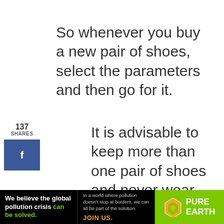So whenever you buy a new pair of shoes, select the parameters and then go for it.
137 SHARES
It is advisable to keep more than one pair of shoes and never wear
We use cookies on our website to give you the most relevant experience by remembering your preferences and repeat visits. By clicking “Accept”, you consent to the use of ALL the cookies. Do not sell my personal information.
[Figure (infographic): Pure Earth advertisement banner: black background with text 'We believe the global pollution crisis can be solved.' in white and green, middle column with text 'In a world where pollution doesn’t stop at borders, we can all be part of the solution. JOIN US.' and right green panel with Pure Earth logo (diamond shape with arrow) and text 'PURE EARTH']